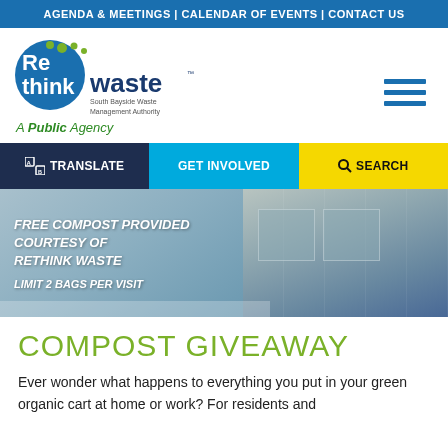AGENDA & MEETINGS | CALENDAR OF EVENTS | CONTACT US
[Figure (logo): Rethink Waste logo — South Bayside Waste Management Authority, A Public Agency]
[Figure (other): Hamburger menu icon (three horizontal blue lines)]
TRANSLATE | GET INVOLVED | SEARCH
[Figure (photo): Photo of a sign reading: FREE COMPOST PROVIDED COURTESY OF RETHINK WASTE / LIMIT 2 BAGS PER VISIT]
COMPOST GIVEAWAY
Ever wonder what happens to everything you put in your green organic cart at home or work? For residents and